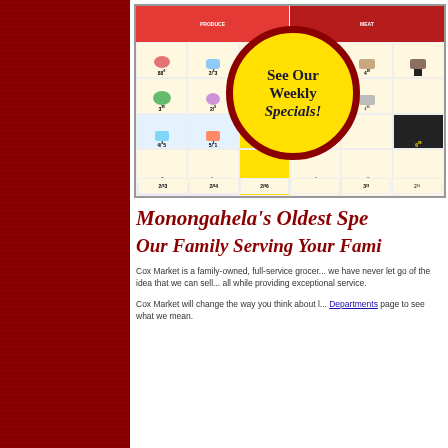[Figure (other): Cox Market weekly ad flyer thumbnail showing grocery specials with a yellow circle overlay reading 'See Our Weekly Specials!' on a red bordered circle]
Monongahela's Oldest Spe...
Our Family Serving Your Fami...
Cox Market is a family-owned, full-service grocer... we have never let go of the idea that we can sell... all while providing exceptional service.
Cox Market will change the way you think about l... Departments page to see what we mean.